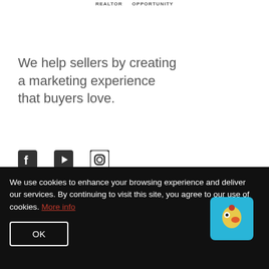[Figure (logo): REALTOR and OPPORTUNITY logo marks at top center]
We help sellers by creating a marketing experience that buyers love.
[Figure (illustration): Social media icons: Facebook, YouTube, Instagram]
POWERED BY
[Figure (logo): CURAYTOR logo with red C icon]
The Parrett Group | Corcoran Global Living
We use cookies to enhance your browsing experience and deliver our services. By continuing to visit this site, you agree to our use of cookies. More info
[Figure (illustration): OK button and robot/parrot icon in cookie consent bar]